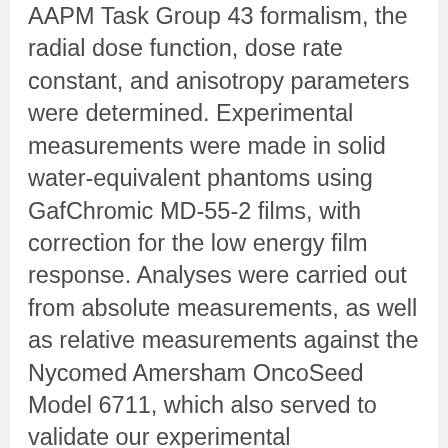AAPM Task Group 43 formalism, the radial dose function, dose rate constant, and anisotropy parameters were determined. Experimental measurements were made in solid water-equivalent phantoms using GafChromic MD-55-2 films, with correction for the low energy film response. Analyses were carried out from absolute measurements, as well as relative measurements against the Nycomed Amersham OncoSeed Model 6711, which also served to validate our experimental methodology. A small, but systematic difference in the absolute measurements was observed depending on the duration of the irradiation. Monte Carlo simulation was performed using the Integrated Tiger Series CYLTRAN code. We benchmarked the code by comparing the dose parameters of Model 6702 with published values. The radial dose function, g(r), of the Model LS-1 seed was computed at